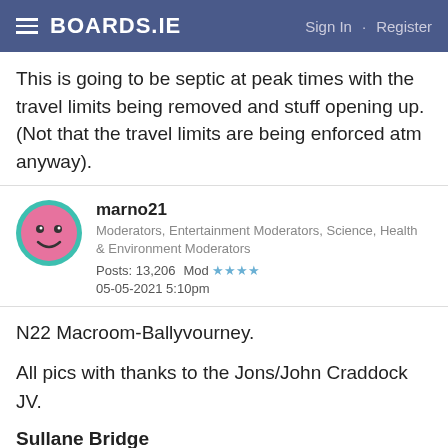BOARDS.IE  Sign In · Register
This is going to be septic at peak times with the travel limits being removed and stuff opening up. (Not that the travel limits are being enforced atm anyway).
marno21
Moderators, Entertainment Moderators, Science, Health & Environment Moderators
Posts: 13,206   Mod ★★★★
05-05-2021 5:10pm
N22 Macroom-Ballyvourney.
All pics with thanks to the Jons/John Craddock JV.
Sullane Bridge
[Figure (other): Tally advertisement banner: 'Fast credit card payoff' with Download Now button]